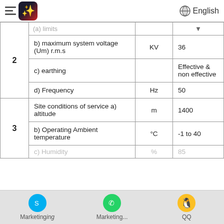English
| # | Description | Unit | Value |
| --- | --- | --- | --- |
| 2 | (a) limits |  | ▼ |
| 2 | b) maximum system voltage (Um) r.m.s | KV | 36 |
| 2 | c) earthing |  | Effective & non effective |
| 2 | d) Frequency | Hz | 50 |
| 3 | Site conditions of service a) altitude | m | 1400 |
| 3 | b) Operating Ambient temperature | °C | -1 to 40 |
| 3 | c) Humidity | % | 85 |
Marketing... | Marketing... | QQ